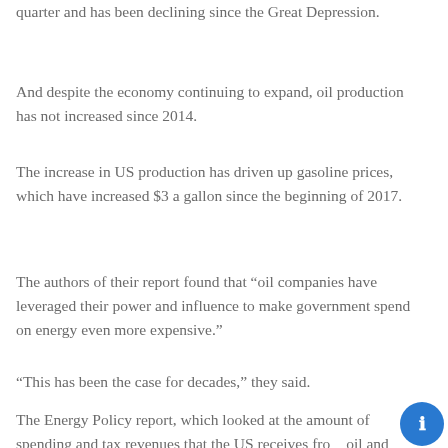quarter and has been declining since the Great Depression.
And despite the economy continuing to expand, oil production has not increased since 2014.
The increase in US production has driven up gasoline prices, which have increased $3 a gallon since the beginning of 2017.
The authors of their report found that “oil companies have leveraged their power and influence to make government spend on energy even more expensive.”
“This has been the case for decades,” they said.
The Energy Policy report, which looked at the amount of spending and tax revenues that the US receives from oil and other natural gas, comes as President Donald